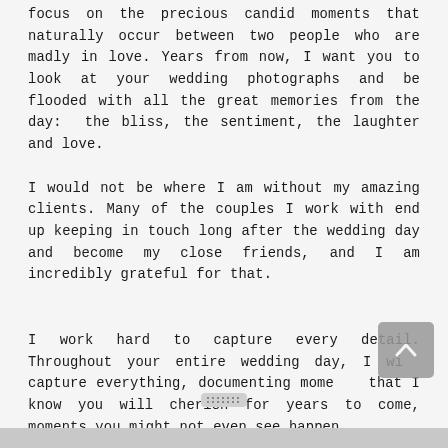focus on the precious candid moments that naturally occur between two people who are madly in love. Years from now, I want you to look at your wedding photographs and be flooded with all the great memories from the day: the bliss, the sentiment, the laughter and love.
I would not be where I am without my amazing clients. Many of the couples I work with end up keeping in touch long after the wedding day and become my close friends, and I am incredibly grateful for that.
I work hard to capture every detail. Throughout your entire wedding day, I will capture everything, documenting moments that I know you will cherish for years to come, moments you might not even see happen.